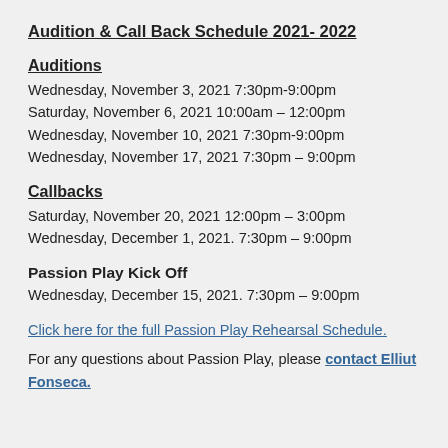Audition & Call Back Schedule 2021- 2022
Auditions
Wednesday, November 3, 2021 7:30pm-9:00pm
Saturday, November 6, 2021 10:00am – 12:00pm
Wednesday, November 10, 2021 7:30pm-9:00pm
Wednesday, November 17, 2021 7:30pm – 9:00pm
Callbacks
Saturday, November 20, 2021 12:00pm – 3:00pm
Wednesday, December 1, 2021. 7:30pm – 9:00pm
Passion Play Kick Off
Wednesday, December 15, 2021. 7:30pm – 9:00pm
Click here for the full Passion Play Rehearsal Schedule.
For any questions about Passion Play, please contact Elliut Fonseca.